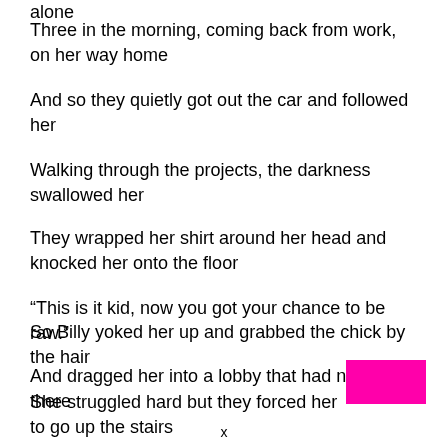alone
Three in the morning, coming back from work, on her way home
And so they quietly got out the car and followed her
Walking through the projects, the darkness swallowed her
They wrapped her shirt around her head and knocked her onto the floor
“This is it kid, now you got your chance to be raw.”
So Billy yoked her up and grabbed the chick by the hair
And dragged her into a lobby that had nobody there
She struggled hard but they forced her to go up the stairs
x